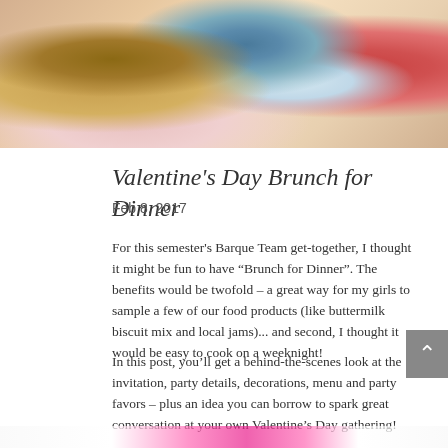[Figure (photo): Top portion of a photo showing Valentine's Day table decorations including vintage valentine cards, an easel, and a red plate on a white doily]
Valentine's Day Brunch for Dinner
Feb 8, 2017
For this semester's Barque Team get-together, I thought it might be fun to have “Brunch for Dinner”. The benefits would be twofold – a great way for my girls to sample a few of our food products (like buttermilk biscuit mix and local jams)... and second, I thought it would be easy to cook on a weeknight!
In this post, you’ll get a behind-the-scenes look at the invitation, party details, decorations, menu and party favors – plus an idea you can borrow to spark great conversation at your own Valentine’s Day gathering!